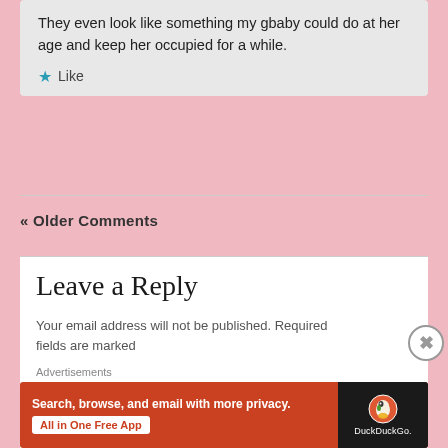They even look like something my gbaby could do at her age and keep her occupied for a while.
Like
« Older Comments
Leave a Reply
Your email address will not be published. Required fields are marked
Advertisements
[Figure (screenshot): DuckDuckGo advertisement banner with orange background showing 'Search, browse, and email with more privacy. All in One Free App' with a phone displaying the DuckDuckGo logo]